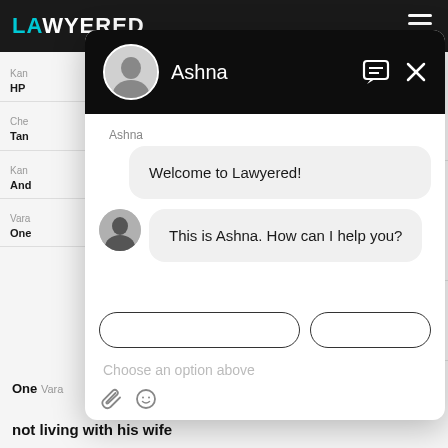[Figure (screenshot): Screenshot of Lawyered legal services website with a chat widget overlay. The chat widget shows an AI assistant named Ashna with messages 'Welcome to Lawyered!' and 'This is Ashna. How can I help you?' along with option buttons and an input area. The background shows lawyer listing cards partially visible.]